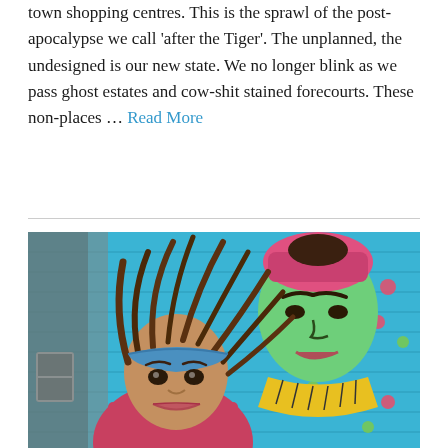town shopping centres. This is the sprawl of the post-apocalypse we call 'after the Tiger'. The unplanned, the undesigned is our new state. We no longer blink as we pass ghost estates and cow-shit stained forecourts. These non-places … Read More
[Figure (photo): A young woman with dreadlocks and a blue bandana stands in front of a colorful street art mural depicting a stylized face (resembling Frida Kahlo style art) in green, blue, pink and yellow on a blue background.]